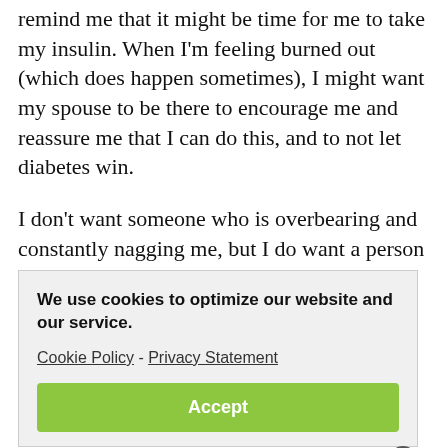remind me that it might be time for me to take my insulin. When I'm feeling burned out (which does happen sometimes), I might want my spouse to be there to encourage me and reassure me that I can do this, and to not let diabetes win.
I don't want someone who is overbearing and constantly nagging me, but I do want a person who can be there when I need someone.
In other words, they need to know when to speak up
[Figure (screenshot): Cookie consent banner overlay with bold text 'We use cookies to optimize our website and our service.', links 'Cookie Policy - Privacy Statement', and a green 'Accept' button.]
I want my partner to understand my feelings,